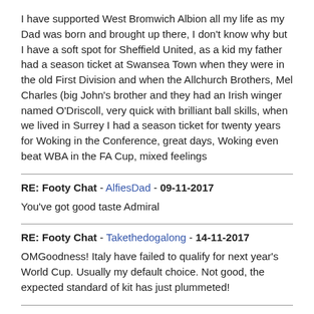I have supported West Bromwich Albion all my life as my Dad was born and brought up there, I don't know why but I have a soft spot for Sheffield United, as a kid my father had a season ticket at Swansea Town when they were in the old First Division and when the Allchurch Brothers, Mel Charles (big John's brother and they had an Irish winger named O'Driscoll, very quick with brilliant ball skills, when we lived in Surrey I had a season ticket for twenty years for Woking in the Conference, great days, Woking even beat WBA in the FA Cup, mixed feelings
RE: Footy Chat - AlfiesDad - 09-11-2017
You've got good taste Admiral
RE: Footy Chat - Takethedogalong - 14-11-2017
OMGoodness! Italy have failed to qualify for next year's World Cup. Usually my default choice. Not good, the expected standard of kit has just plummeted!
RE: Footy Chat - Admiral - 14-11-2017
Fingers crossed, tonight's game versus Panama it will be Coleman's last game in charge of Wales, and he will be up the Panama Canal without a paddle